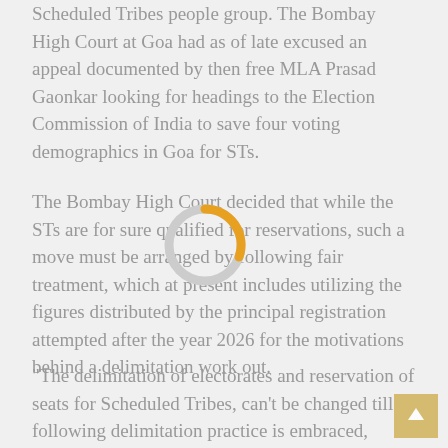Scheduled Tribes people group. The Bombay High Court at Goa had as of late excused an appeal documented by then free MLA Prasad Gaonkar looking for headings to the Election Commission of India to save four voting demographics in Goa for STs.
The Bombay High Court decided that while the STs are for sure qualified for reservations, such a move must be arranged by following fair treatment, which at present includes utilizing the figures distributed by the principal registration attempted after the year 2026 for the motivations behind a delimitation work out.
[Figure (other): A circular loading spinner with an orange/yellow arc segment on a gray ring background]
“The delimitation of electorates and reservation of seats for Scheduled Tribes, can’t be changed till following delimitation practice is embraced, which